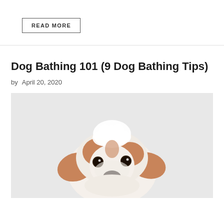READ MORE
Dog Bathing 101 (9 Dog Bathing Tips)
by   April 20, 2020
[Figure (photo): A small Jack Russell-type puppy with brown and white fur, with white soap suds/foam on top of its head, looking directly at the camera against a light grey background.]